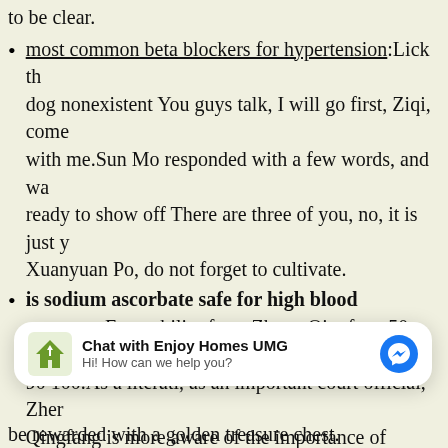most common beta blockers for hypertension:Lick the dog nonexistent You guys talk, I will go first, Ziqi, come with me.Sun Mo responded with a few words, and was ready to show off There are three of you, no, it is just you, Xuanyuan Po, do not forget to cultivate.
is sodium ascorbate safe for high blood pressure:Favorability from Zheng Qingfang 50, friendliness 90 100.As a literati, as an important court official, Zheng Qingfang is more aware of the importance of talents, it can be said that the ideal of Sun Mo cannot be more lofty.
pulmonary arterial hypertension rare disease:In the past, Qi Shengjia was a little transparent and nobody cared, but now, because he and Sun Mo knew each other...
[Figure (other): Chat widget overlay for Enjoy Homes UMG with messenger icon and text 'Hi! How can we help you?']
be rewarded with a golden treasure chest.